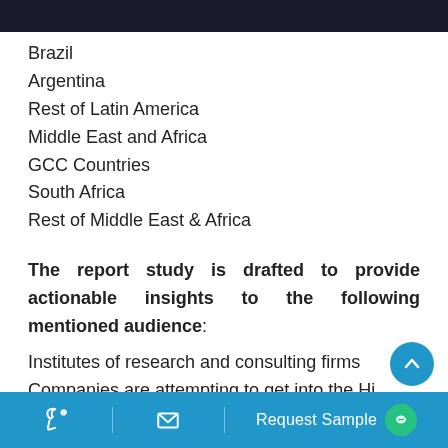Brazil
Argentina
Rest of Latin America
Middle East and Africa
GCC Countries
South Africa
Rest of Middle East & Africa
The report study is drafted to provide actionable insights to the following mentioned audience: Institutes of research and consulting firms Companies are attempting to get into the Hi...
Request Sample